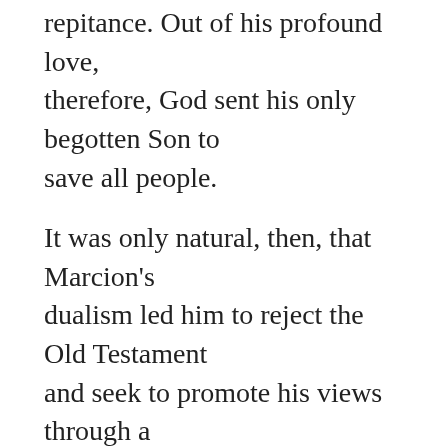repitance. Out of his profound love, therefore, God sent his only begotten Son to save all people.
It was only natural, then, that Marcion's dualism led him to reject the Old Testament and seek to promote his views through a misreading of select New Testament writings. So devoted to his overriding theological presuppositions was Marcion that he compiled a list of books he considered to be the true canon. His final list yielded a truncated Gospel of Luke and ten Pauline epistles, which were also similarly expurgated.
Marcion's decision to promote a New Testament distinct calling for this...